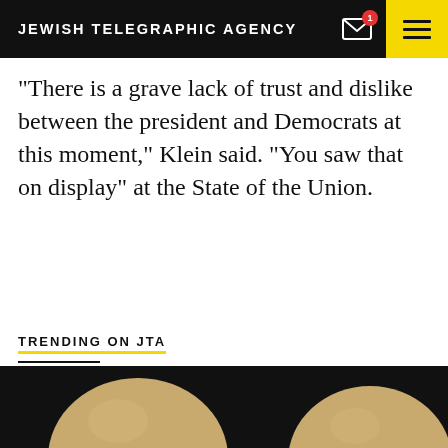JEWISH TELEGRAPHIC AGENCY
“There is a grave lack of trust and dislike between the president and Democrats at this moment,” Klein said. “You saw that on display” at the State of the Union.
TRENDING ON JTA
[Figure (photo): Two bald human head figures shown from behind against a black background, partially cut off at the bottom of the page.]